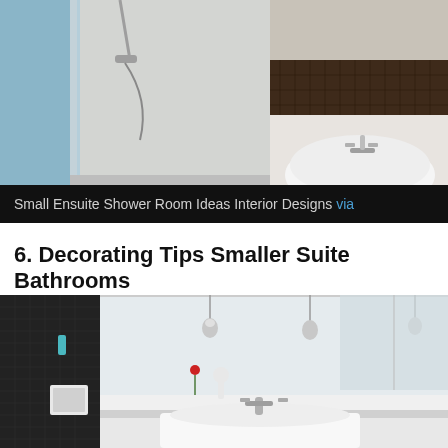[Figure (photo): Photo of a small ensuite shower room with glass shower enclosure, white basin/sink, chrome tap, and dark brown mosaic tile accent strip on the wall. Light blue curtain visible on the left.]
Small Ensuite Shower Room Ideas Interior Designs via
6. Decorating Tips Smaller Suite Bathrooms
[Figure (photo): Photo of a modern ensuite bathroom with black vertical tiles on left wall, large mirror, white basin with chrome taps, pendant lights, skylight window, and a red rose in a white vase.]